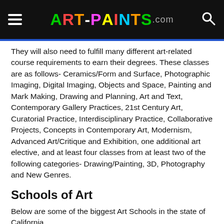ART-PAINTS.com
They will also need to fulfill many different art-related course requirements to earn their degrees. These classes are as follows- Ceramics/Form and Surface, Photographic Imaging, Digital Imaging, Objects and Space, Painting and Mark Making, Drawing and Planning, Art and Text, Contemporary Gallery Practices, 21st Century Art, Curatorial Practice, Interdisciplinary Practice, Collaborative Projects, Concepts in Contemporary Art, Modernism, Advanced Art/Critique and Exhibition, one additional art elective, and at least four classes from at least two of the following categories- Drawing/Painting, 3D, Photography and New Genres.
Schools of Art
Below are some of the biggest Art Schools in the state of California.
Academy of Art University
The Academy of Art University in San Francisco, accredited with the Western Association of Schools and Colleges, offers several first-